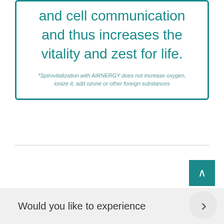and cell communication and thus increases the vitality and zest for life.
*Spirovitalization with AIRNERGY does not increase oxygen, ionize it, add ozone or other foreign substances
Would you like to experience